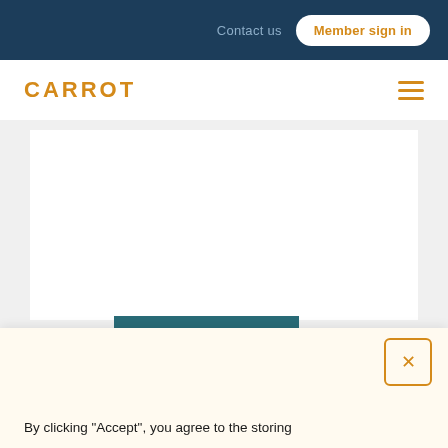Contact us   Member sign in
CARROT
[Figure (screenshot): Gray placeholder content area on white background]
[Figure (illustration): Teal card showing 'Season 2' label above 'BABY STEPS' text in large white bold letters on dark teal background]
By clicking "Accept", you agree to the storing